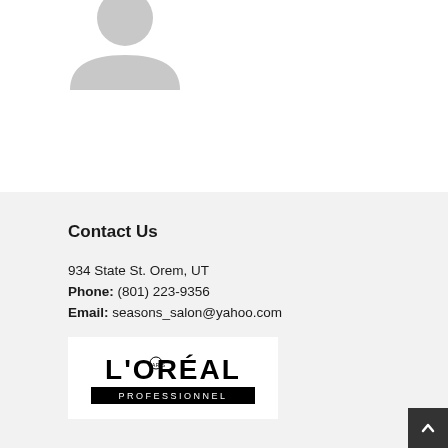[Figure (illustration): Partial gray silhouette/avatar icon cropped at top of page]
Contact Us
934 State St. Orem, UT
Phone: (801) 223-9356
Email: seasons_salon@yahoo.com
[Figure (logo): L'ORÉAL PROFESSIONNEL logo in black and white]